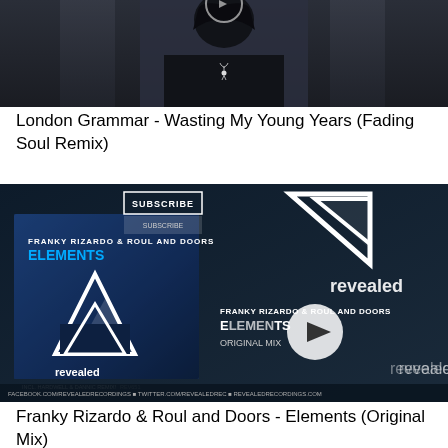[Figure (photo): Dark atmospheric photo of a person from behind wearing a black jacket with a small deer/stag logo, partial view showing upper body and head against a dark blurred background]
London Grammar - Wasting My Young Years (Fading Soul Remix)
[Figure (screenshot): YouTube video thumbnail for Franky Rizardo & Roul and Doors - Elements, showing the Revealed Recordings album artwork with triangular logo, play button overlay, and social media info bar at bottom]
Franky Rizardo & Roul and Doors - Elements (Original Mix)